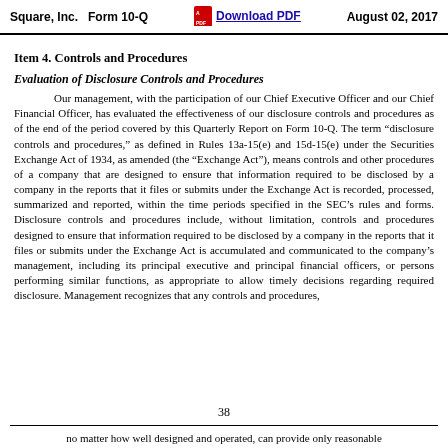Square, Inc.   Form 10-Q   Download PDF   August 02, 2017
Item 4. Controls and Procedures
Evaluation of Disclosure Controls and Procedures
Our management, with the participation of our Chief Executive Officer and our Chief Financial Officer, has evaluated the effectiveness of our disclosure controls and procedures as of the end of the period covered by this Quarterly Report on Form 10-Q. The term “disclosure controls and procedures,” as defined in Rules 13a-15(e) and 15d-15(e) under the Securities Exchange Act of 1934, as amended (the “Exchange Act”), means controls and other procedures of a company that are designed to ensure that information required to be disclosed by a company in the reports that it files or submits under the Exchange Act is recorded, processed, summarized and reported, within the time periods specified in the SEC’s rules and forms. Disclosure controls and procedures include, without limitation, controls and procedures designed to ensure that information required to be disclosed by a company in the reports that it files or submits under the Exchange Act is accumulated and communicated to the company’s management, including its principal executive and principal financial officers, or persons performing similar functions, as appropriate to allow timely decisions regarding required disclosure. Management recognizes that any controls and procedures,
38
no matter how well designed and operated, can provide only reasonable